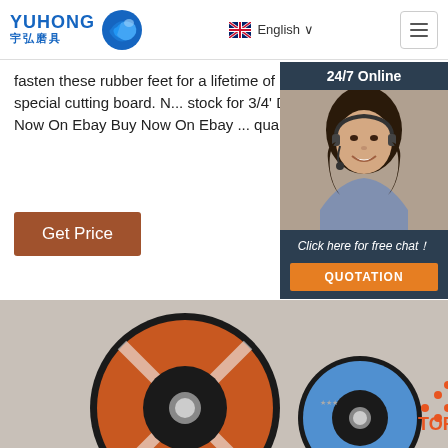YUHONG 宇弘磨具 | English
fasten these rubber feet for a lifetime of use. ... Choose the perfect size for your special cutting board. N... stock for 3/4' DIA - Brown, Blue, Orange, Alm... Gray. Buy Now On Ebay Buy Now On Ebay ... quality + value Optimized Variety Bumpers
Get Price
[Figure (photo): 24/7 Online chat widget with a female customer service representative wearing a headset, dark background with 'Click here for free chat!' and QUOTATION button]
[Figure (photo): Two abrasive cutting discs (grinding wheels) labeled TYROLD - one large orange disc and one smaller blue disc - on a light gray background with TOP badge in bottom right corner]